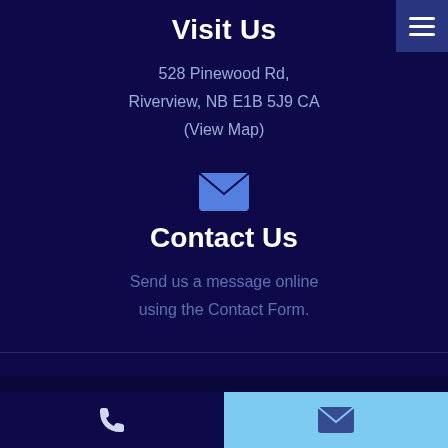Visit Us
528 Pinewood Rd,
Riverview, NB E1B 5J9 CA
(View Map)
[Figure (illustration): Email envelope icon in light blue]
Contact Us
Send us a message online using the Contact Form.
[Figure (illustration): Facebook 'f' icon in light blue/purple color]
Privacy Policy
Copyright © 2022. All Rights Reserved. Managed with Tymbrel
[Figure (illustration): Phone icon in white on dark blue background (left) and email envelope icon in dark blue on light blue background (right) in bottom bar]